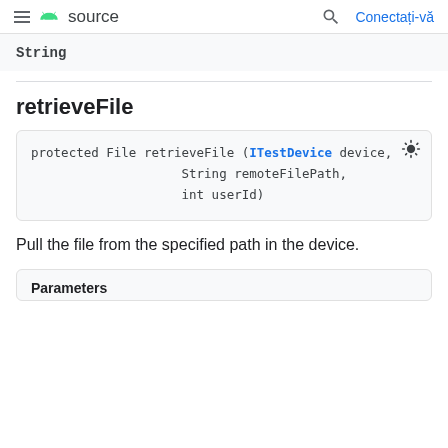≡  source   🔍   Conectați-vă
String
retrieveFile
protected File retrieveFile (ITestDevice device,
                    String remoteFilePath,
                    int userId)
Pull the file from the specified path in the device.
Parameters